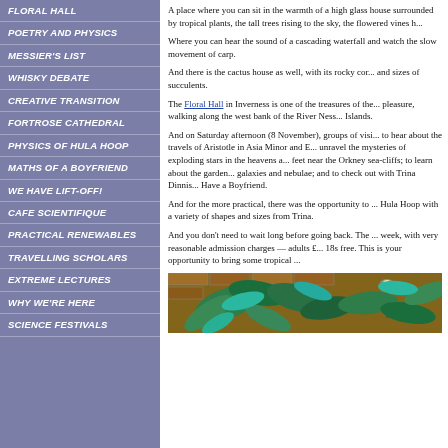FLORAL HALL
POETRY AND PHYSICS
MESSIER'S LIST
WHISKY DEBATE
CREATIVE TRANSITION
FORTROSE CATHEDRAL
PHYSICS OF HULA HOOP
MATHS OF A BOYFRIEND
WE HAVE LIFT-OFF!
CAFE SCIENTIFIQUE
PRACTICAL RENEWABLES
TRAVELLING SCHOLARS
EXTREME LECTURES
WHY WE'RE HERE
SCIENCE FESTIVALS
A place where you can sit in the warmth of a high glass house surrounded by tropical plants, the tall trees rising to the sky, the flowered vines hanging from above...
Where you can hear the sound of a cascading waterfall and watch the slow movement of carp.
And there is the cactus house as well, with its rocky corners and an amazing variety of shapes and sizes of succulents.
The Floral Hall in Inverness is one of the treasures of the town — a real winter pleasure, walking along the west bank of the River Ness, opposite the wooded Islands.
And on Saturday afternoon (8 November), groups of visitors moved from room to room to hear about the travels of Aristotle in Asia Minor and Egypt; to sit with Phil Ramsay and unravel the mysteries of exploding stars in the heavens as described by birds nesting at his feet near the Orkney sea-cliffs; to learn about the garden of the cosmos — the mysteries of galaxies and nebulae; and to check out with Trina Dinnis the Maths of Why You Can't Have a Boyfriend.
And for the more practical, there was the opportunity to investigate the Physics of the Hula Hoop with a variety of shapes and sizes from Trina.
And you don't need to wait long before going back. The Floral Hall is open every day of the week, with very reasonable admission charges — adults £3.20, concessions £2.30, under 18s free. This is your opportunity to bring some tropical warmth into a cold winter's day.
[Figure (photo): Photo of tropical plants with green and turquoise leaves against a warm brick/stone background with a lamp visible]